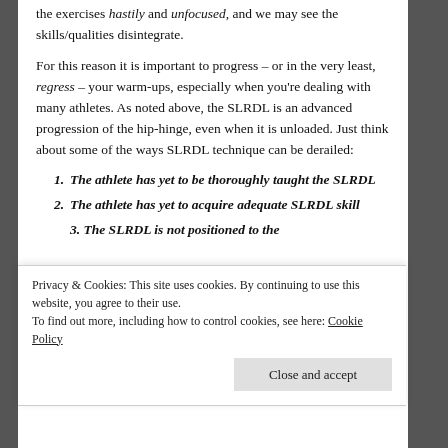the exercises hastily and unfocused, and we may see the skills/qualities disintegrate.
For this reason it is important to progress – or in the very least, regress – your warm-ups, especially when you're dealing with many athletes. As noted above, the SLRDL is an advanced progression of the hip-hinge, even when it is unloaded. Just think about some of the ways SLRDL technique can be derailed:
1. The athlete has yet to be thoroughly taught the SLRDL
2. The athlete has yet to acquire adequate SLRDL skill
3. The SLRDL is not positioned to the...
Privacy & Cookies: This site uses cookies. By continuing to use this website, you agree to their use.
To find out more, including how to control cookies, see here: Cookie Policy